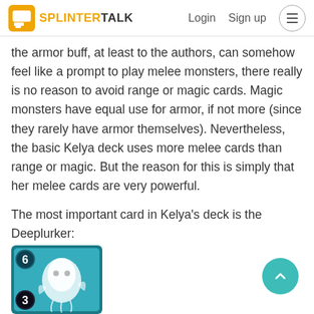SPLINTERTALK | Login  Sign up
the armor buff, at least to the authors, can somehow feel like a prompt to play melee monsters, there really is no reason to avoid range or magic cards. Magic monsters have equal use for armor, if not more (since they rarely have armor themselves). Nevertheless, the basic Kelya deck uses more melee cards than range or magic. But the reason for this is simply that her melee cards are very powerful.
The most important card in Kelya's deck is the Deeplurker:
[Figure (illustration): A Splinterlands game card partially visible showing a creature with the number 6 and 3 displayed, teal/blue background, fantasy art style creature.]